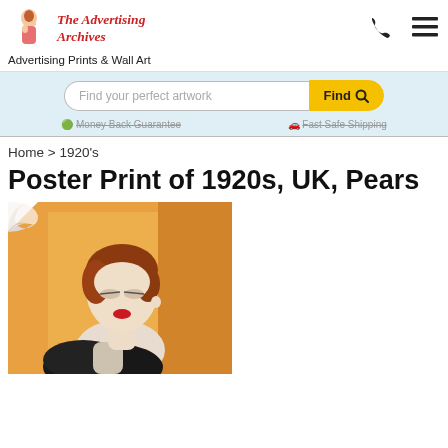The Advertising Archives — Advertising Prints & Wall Art
Find your perfect artwork
Money Back Guarantee   Fast Safe Shipping
Home > 1920's
Poster Print of 1920s, UK, Pears
[Figure (illustration): 1920s vintage Pears soap advertisement illustration featuring an elegant woman with auburn hair, red lips, wearing black, against an orange/golden background, shown as a poster print with a curled top-left corner.]